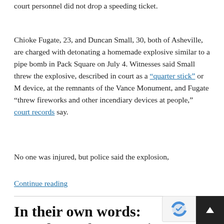court personnel did not drop a speeding ticket.
Chioke Fugate, 23, and Duncan Small, 30, both of Asheville, are charged with detonating a homemade explosive similar to a pipe bomb in Pack Square on July 4. Witnesses said Small threw the explosive, described in court as a "quarter stick" or M device, at the remnants of the Vance Monument, and Fugate "threw fireworks and other incendiary devices at people," court records say.
No one was injured, but police said the explosion,
Continue reading
In their own words: Members of Reparations Commission